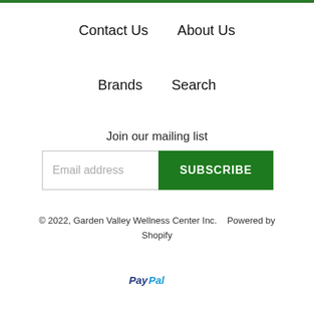Contact Us    About Us
Brands    Search
Join our mailing list
Email address  SUBSCRIBE
© 2022, Garden Valley Wellness Center Inc.    Powered by Shopify
[Figure (logo): PayPal logo in bold italic text]